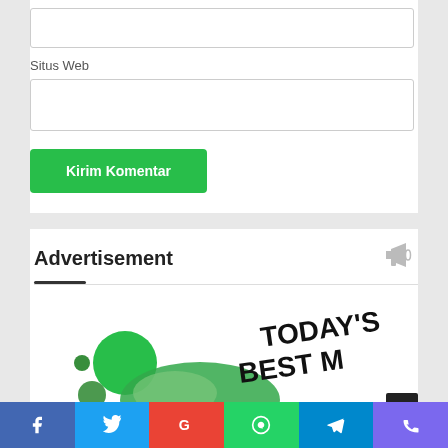Situs Web
[Figure (screenshot): Green submit button labeled 'Kirim Komentar']
Advertisement
[Figure (illustration): Advertisement banner showing green circles and 'TODAY'S BEST M...' text in bold black handwritten font]
[Figure (infographic): Social sharing bar with icons: Facebook (blue), Twitter (light blue), Google (red), WhatsApp (green), Telegram (blue), Phone (purple)]